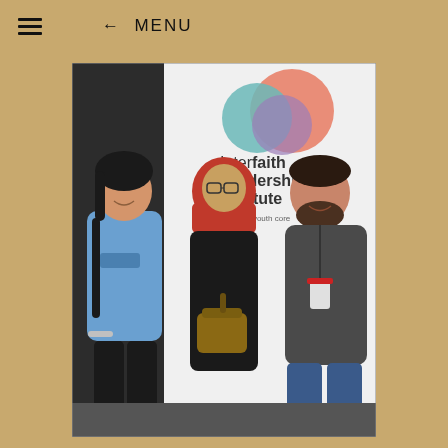≡  ← MENU
[Figure (photo): Three people posing together in front of an Interfaith Leadership Institute banner (Interfaith Youth Core). On the left is a young Asian woman in a blue t-shirt with a backpack. In the center is a woman wearing a red hijab and dark clothing holding a handbag. On the right is a bearded man in a dark grey t-shirt wearing a lanyard/badge. The banner behind them shows the Interfaith Leadership Institute logo with colorful circles.]